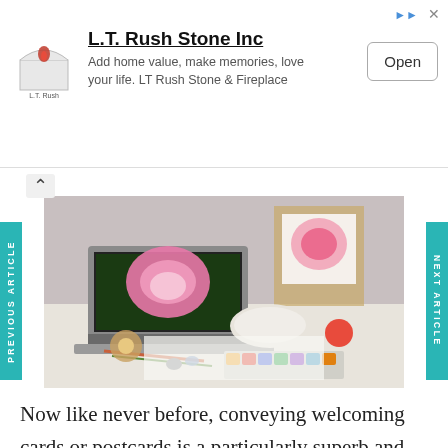[Figure (other): Advertisement banner for L.T. Rush Stone Inc with logo, text and Open button]
[Figure (photo): Art studio desk with a laptop showing a pink peony flower, watercolor paints, brushes, and a canvas on an easel in the background]
Now like never before, conveying welcoming cards or postcards is a particularly superb and significant method for interfacing with friends